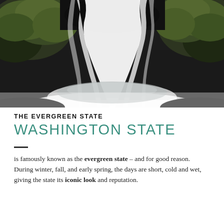[Figure (photo): Long-exposure photograph of a waterfall flowing over moss-covered rocks, with silky white water and lush green moss on boulders, in a natural forest setting.]
THE EVERGREEN STATE
WASHINGTON STATE
is famously known as the evergreen state – and for good reason. During winter, fall, and early spring, the days are short, cold and wet, giving the state its iconic look and reputation.